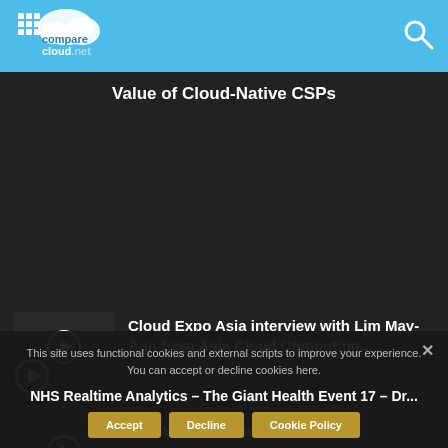comparecloud.net — header with logo and search icon
Value of Cloud-Native CSPs
Popular Videos
Cloud Expo Asia interview with Lim May-Ann from Asia Cloud Computing...
IoT | What Are the Risks?
NHS Realtime Analytics – The Giant Health Event 17 – Dr...
This site uses functional cookies and external scripts to improve your experience. You can accept or decline cookies here.
Accept   Decline   Cookie Policy